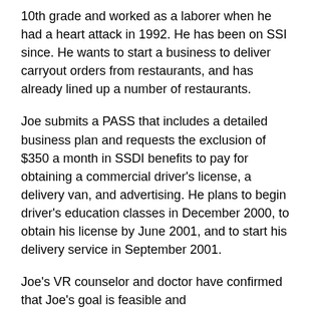10th grade and worked as a laborer when he had a heart attack in 1992. He has been on SSI since. He wants to start a business to deliver carryout orders from restaurants, and has already lined up a number of restaurants.
Joe submits a PASS that includes a detailed business plan and requests the exclusion of $350 a month in SSDI benefits to pay for obtaining a commercial driver's license, a delivery van, and advertising. He plans to begin driver's education classes in December 2000, to obtain his license by June 2001, and to start his delivery service in September 2001.
Joe's VR counselor and doctor have confirmed that Joe's goal is feasible and